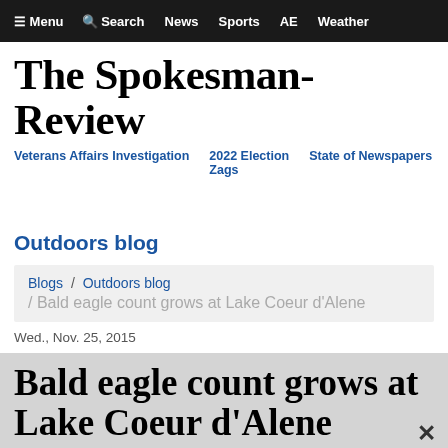☰ Menu  🔍 Search  News  Sports  AE  Weather
The Spokesman-Review
Veterans Affairs Investigation  2022 Election Zags  State of Newspapers
Outdoors blog
Blogs / Outdoors blog / Bald eagle count grows at Lake Coeur d'Alene
Wed., Nov. 25, 2015
Bald eagle count grows at Lake Coeur d'Alene